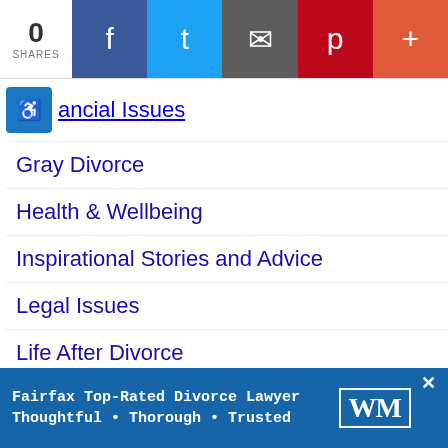0 SHARES | Facebook | Twitter | Email | Pinterest | More
Financial Issues
Gray Divorce
Health & Wellbeing
Inspirational Stories and Advice
Legal Issues
Life After Divorce
PODCASTS
Preparing for Divorce
Relationships and Dating
Remarriage
Step-fa...
Fairfax Top-Rated Divorce Lawyer Thoughtful · Thorough · Trusted